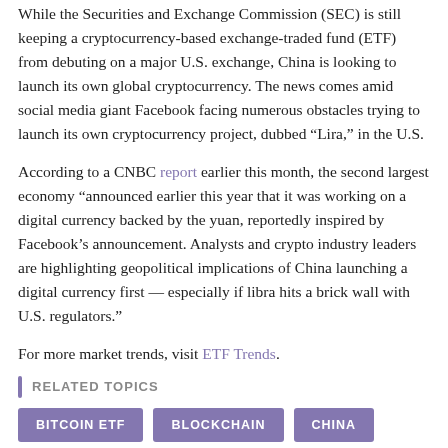While the Securities and Exchange Commission (SEC) is still keeping a cryptocurrency-based exchange-traded fund (ETF) from debuting on a major U.S. exchange, China is looking to launch its own global cryptocurrency. The news comes amid social media giant Facebook facing numerous obstacles trying to launch its own cryptocurrency project, dubbed “Lira,” in the U.S.
According to a CNBC report earlier this month, the second largest economy “announced earlier this year that it was working on a digital currency backed by the yuan, reportedly inspired by Facebook’s announcement. Analysts and crypto industry leaders are highlighting geopolitical implications of China launching a digital currency first — especially if libra hits a brick wall with U.S. regulators.”
For more market trends, visit ETF Trends.
RELATED TOPICS
BITCOIN ETF
BLOCKCHAIN
CHINA